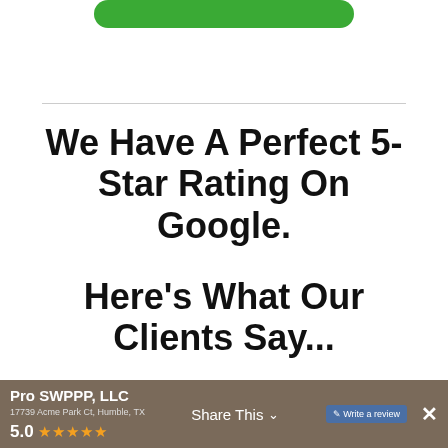[Figure (other): Green rounded button/bar at top of page]
We Have A Perfect 5-Star Rating On Google.
Here's What Our Clients Say...
Pro SWPPP, LLC 17739 Acme Park Ct, Humble, TX 5.0 ★★★★★  Share This  ✕